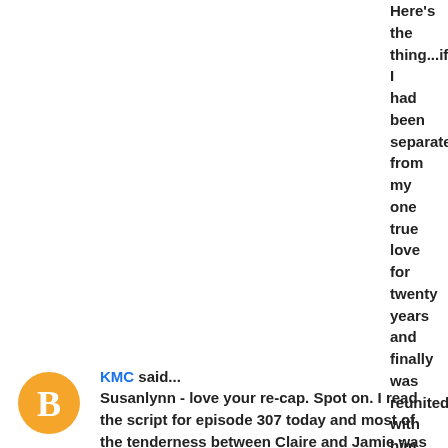Here's the thing...if I had been separated from my one true love for twenty years and finally was reunited with him , it would take a lot for me to leave him again. You're a smuggler...fine with me. You have a son by a wealthy teenager...okay. You married someone who hates me and has always wanted you..I can deal with that. You had a one night stand with the housekeeper in a cave...okey dokey. Your sister hates me...whatever. However, TV Claire is already ticked off at him immediately following their one night in paradise.
November 2, 2017 at 10:59 AM
KMC said...
[Figure (logo): Blogger orange avatar icon with white B letter]
Susanlynn - love your re-cap. Spot on. I read the script for episode 307 today and most of the tenderness between Claire and Jamie was cut from the episode or performed differently than the script. This episode was really short compared to other episodes and could have included some of those scenes. When Jamie